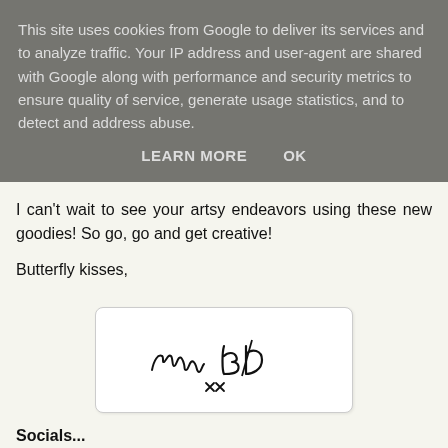This site uses cookies from Google to deliver its services and to analyze traffic. Your IP address and user-agent are shared with Google along with performance and security metrics to ensure quality of service, generate usage statistics, and to detect and address abuse.
LEARN MORE    OK
I can't wait to see your artsy endeavors using these new goodies! So go, go and get creative!
Butterfly kisses,
[Figure (illustration): Handwritten signature reading 'france CB' with 'xx' underneath, in a white rounded rectangle box]
Socials...
Website: www.france-papillon.com